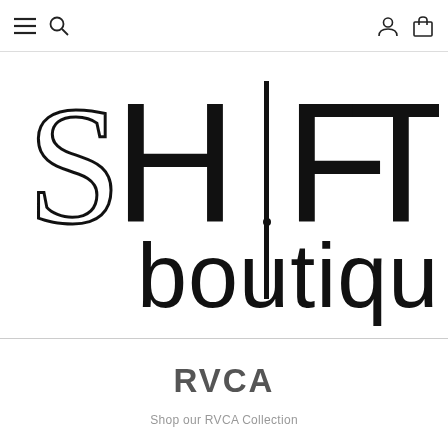Navigation bar with hamburger menu, search icon, user icon, and cart icon
[Figure (logo): SHIFT boutique logo in large thin sans-serif lettering. 'SHIFT' in large uppercase and 'boutique' in lowercase underneath, sharing the vertical stroke of the letter 'I'.]
RVCA
Shop our RVCA Collection